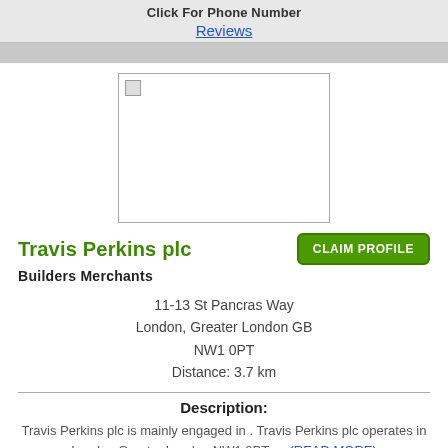Click For Phone Number
Reviews
[Figure (photo): Business logo/image placeholder for Travis Perkins plc]
Travis Perkins plc
CLAIM PROFILE
Builders Merchants
11-13 St Pancras Way
London, Greater London GB
NW1 0PT
Distance: 3.7 km
Description:
Travis Perkins plc is mainly engaged in . Travis Perkins plc operates in London Greater London NW1 0PT. . . (READ MORE)
View Profile